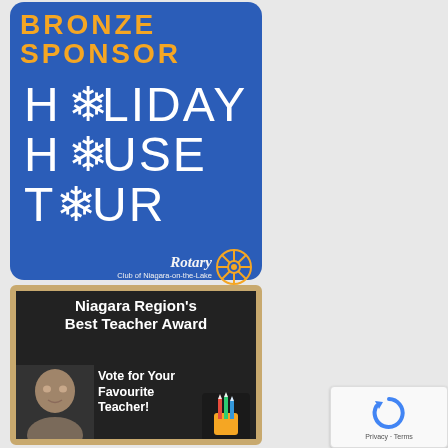[Figure (illustration): Bronze Sponsor badge for Holiday House Tour, Rotary Club of Niagara-on-the-Lake. Blue rounded rectangle with orange 'BRONZE SPONSOR' text, white decorative lettering for 'HOLIDAY HOUSE TOUR' with snowflake icons replacing O letters, and Rotary logo with gold wheel emblem at bottom right.]
[Figure (illustration): Niagara Region's Best Teacher Award advertisement on dark chalkboard background with wooden frame. Shows a man's photo at lower left, text 'Niagara Region's Best Teacher Award' at top, 'Vote for Your Favourite Teacher!' on right, and pencils/stationery graphic at lower right.]
[Figure (other): Google reCAPTCHA badge showing the reCAPTCHA logo (blue circular arrow icon) with 'Privacy - Terms' text below.]